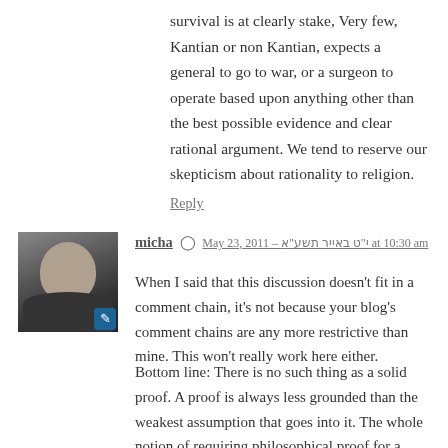survival is at clearly stake, Very few, Kantian or non Kantian, expects a general to go to war, or a surgeon to operate based upon anything other than the best possible evidence and clear rational argument. We tend to reserve our skepticism about rationality to religion.
Reply
[Figure (photo): Black and white avatar photo of a person, with a blue edit pencil icon in the bottom right corner]
micha  ⊙  May 23, 2011 – י"ט באייר תשע"א at 10:30 am
When I said that this discussion doesn't fit in a comment chain, it's not because your blog's comment chains are any more restrictive than mine. This won't really work here either.
Bottom line: There is no such thing as a solid proof. A proof is always less grounded than the weakest assumption that goes into it. The whole notion of requiring philosophical proof for a belief to be well grounded is itself not very well grounded. This is the reason why the wiggle room exists for even the most